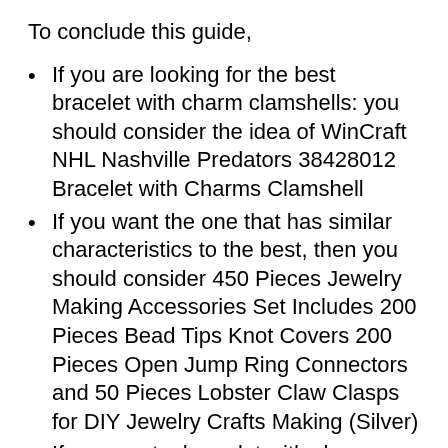To conclude this guide,
If you are looking for the best bracelet with charm clamshells: you should consider the idea of WinCraft NHL Nashville Predators 38428012 Bracelet with Charms Clamshell
If you want the one that has similar characteristics to the best, then you should consider 450 Pieces Jewelry Making Accessories Set Includes 200 Pieces Bead Tips Knot Covers 200 Pieces Open Jump Ring Connectors and 50 Pieces Lobster Claw Clasps for DIY Jewelry Crafts Making (Silver)
If you want a bracelet with charm clamshells that is “value for money”, choose Pandora Jewelry Moments Heart Clasp Snake Chain Charm Sterling Silver Bracelet, 7.5″
If you want the cheapest bracelet with